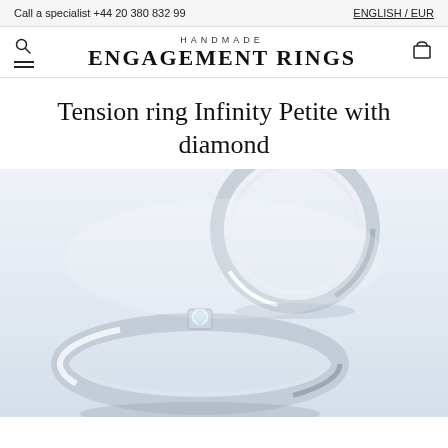Call a specialist +44 20 380 832 99 | ENGLISH / EUR
[Figure (logo): Handmade Engagement Rings logo with search icon, menu icon, and cart icon]
Tension ring Infinity Petite with diamond
[Figure (photo): Two platinum tension rings with diamonds - one shown from an angle showing the band, one shown upright showing a diamond set in tension. Both rings are silver/platinum colored on a light blue-grey gradient background.]